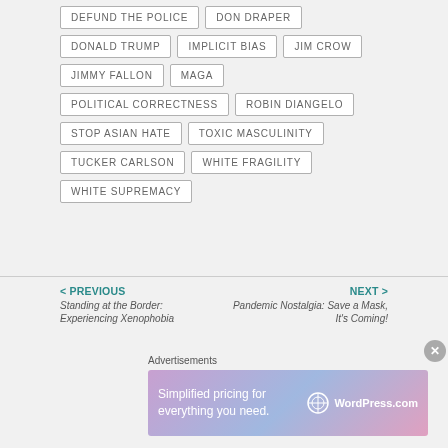DEFUND THE POLICE
DON DRAPER
DONALD TRUMP
IMPLICIT BIAS
JIM CROW
JIMMY FALLON
MAGA
POLITICAL CORRECTNESS
ROBIN DIANGELO
STOP ASIAN HATE
TOXIC MASCULINITY
TUCKER CARLSON
WHITE FRAGILITY
WHITE SUPREMACY
< PREVIOUS
Standing at the Border: Experiencing Xenophobia
NEXT >
Pandemic Nostalgia: Save a Mask, It's Coming!
Advertisements
[Figure (infographic): WordPress.com advertisement banner: 'Simplified pricing for everything you need.' with WordPress.com logo on gradient purple-pink background]